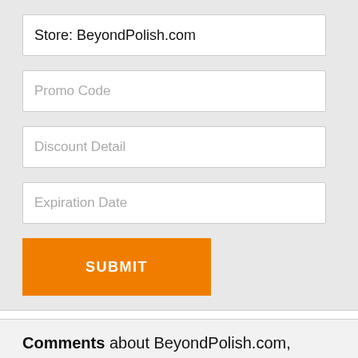Store: BeyondPolish.com
Promo Code
Discount Detail
Expiration Date
SUBMIT
Comments about BeyondPolish.com, shopping experience, or coupons:
Name required